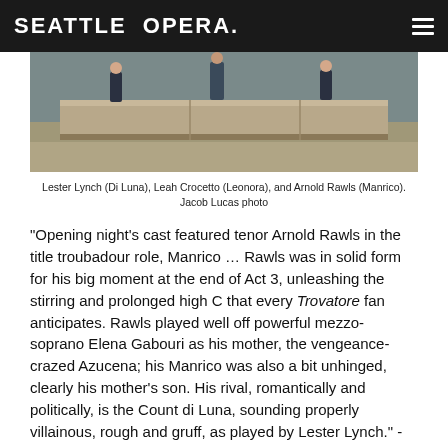SEATTLE OPERA.
[Figure (photo): Stage photo showing performers on a stone block set piece. Lester Lynch (Di Luna), Leah Crocetto (Leonora), and Arnold Rawls (Manrico) in Seattle Opera production.]
Lester Lynch (Di Luna), Leah Crocetto (Leonora), and Arnold Rawls (Manrico). Jacob Lucas photo
"Opening night's cast featured tenor Arnold Rawls in the title troubadour role, Manrico … Rawls was in solid form for his big moment at the end of Act 3, unleashing the stirring and prolonged high C that every Trovatore fan anticipates. Rawls played well off powerful mezzo-soprano Elena Gabouri as his mother, the vengeance-crazed Azucena; his Manrico was also a bit unhinged, clearly his mother's son. His rival, romantically and politically, is the Count di Luna, sounding properly villainous, rough and gruff, as played by Lester Lynch." - Seattle Weekly